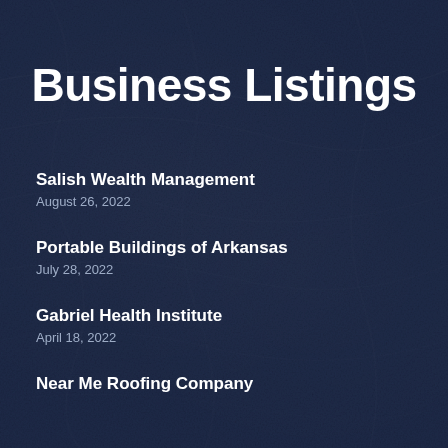Business Listings
Salish Wealth Management
August 26, 2022
Portable Buildings of Arkansas
July 28, 2022
Gabriel Health Institute
April 18, 2022
Near Me Roofing Company